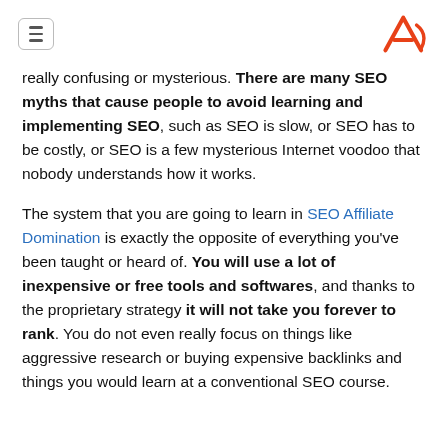[hamburger menu icon] [logo]
really confusing or mysterious. There are many SEO myths that cause people to avoid learning and implementing SEO, such as SEO is slow, or SEO has to be costly, or SEO is a few mysterious Internet voodoo that nobody understands how it works.
The system that you are going to learn in SEO Affiliate Domination is exactly the opposite of everything you've been taught or heard of. You will use a lot of inexpensive or free tools and softwares, and thanks to the proprietary strategy it will not take you forever to rank. You do not even really focus on things like aggressive research or buying expensive backlinks and things you would learn at a conventional SEO course.